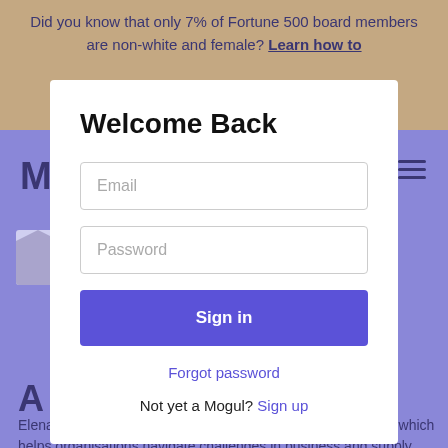Did you know that only 7% of Fortune 500 board members are non-white and female? Learn how to
[Figure (screenshot): Login modal dialog on a website with email and password fields, sign-in button, forgot password link, and sign-up prompt. Background shows a tan header strip and lavender/purple content area with partial logo 'Mo' and partial article text visible.]
Welcome Back
Email
Password
Sign in
Forgot password
Not yet a Mogul? Sign up
Elena Low is Founder and CEO of a global Advisory Practice which helps organisations navigate challenges in business and supply chains through public affairs, sustainability and human capital strategies.